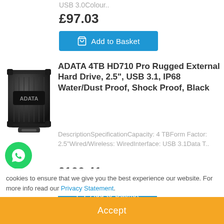USB 3.0Colour..
£97.03
Add to Basket
ADATA 4TB HD710 Pro Rugged External Hard Drive, 2.5", USB 3.1, IP68 Water/Dust Proof, Shock Proof, Black
DescriptionSpecificationCapacity: 4 TBForm Factor: 2.5"Wired/Wireless: WiredInterface: USB 3.1Data T..
£100.41
Add to Basket
cookies to ensure that we give you the best experience our website. For more info read our Privacy Statement.
Accept